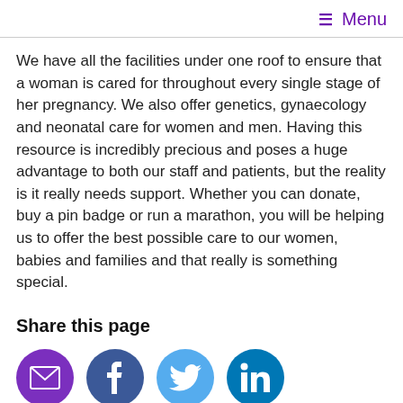≡ Menu
We have all the facilities under one roof to ensure that a woman is cared for throughout every single stage of her pregnancy. We also offer genetics, gynaecology and neonatal care for women and men. Having this resource is incredibly precious and poses a huge advantage to both our staff and patients, but the reality is it really needs support. Whether you can donate, buy a pin badge or run a marathon, you will be helping us to offer the best possible care to our women, babies and families and that really is something special.
Share this page
[Figure (infographic): Four social media sharing icons in circles: Email (purple), Facebook (dark blue), Twitter (light blue), LinkedIn (teal blue)]